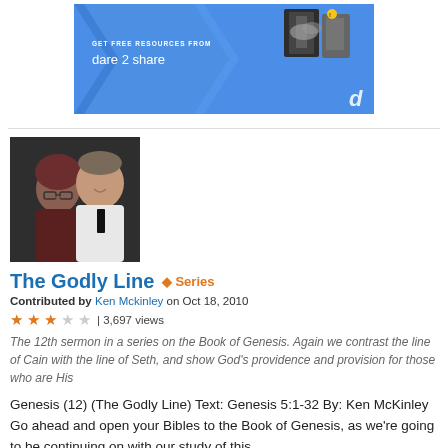[Figure (illustration): Advertisement banner for 'dare 2 share' with blue background, arrow shapes, book images, and text 'GET FREE RESOURCES FROM dare 2 share']
[Figure (photo): Profile photo of a couple, woman with glasses and a man in a white shirt, on dark background]
The Godly Line  ♦ Series
Contributed by Ken Mckinley on Oct 18, 2010
★★★☆☆ | 3,697 views
The 12th sermon in a series on the Book of Genesis. Again we contrast the line of Cain with the line of Seth, and show God's providence and provision for those who are His
Genesis (12) (The Godly Line) Text: Genesis 5:1-32 By: Ken McKinley Go ahead and open your Bibles to the Book of Genesis, as we're going to be continuing on with our study of this